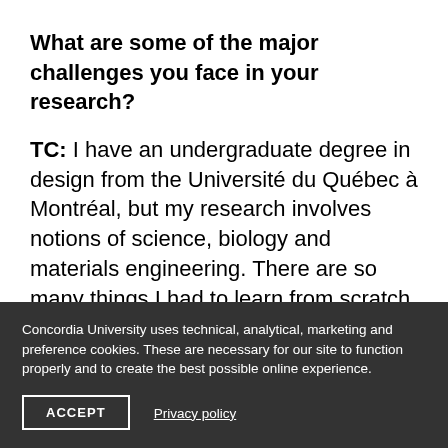What are some of the major challenges you face in your research?
TC: I have an undergraduate degree in design from the Université du Québec à Montréal, but my research involves notions of science, biology and materials engineering. There are so many things I had to learn from scratch
Concordia University uses technical, analytical, marketing and preference cookies. These are necessary for our site to function properly and to create the best possible online experience.
ACCEPT
Privacy policy